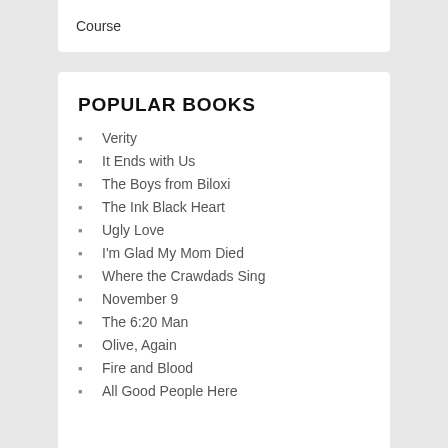Course
POPULAR BOOKS
Verity
It Ends with Us
The Boys from Biloxi
The Ink Black Heart
Ugly Love
I'm Glad My Mom Died
Where the Crawdads Sing
November 9
The 6:20 Man
Olive, Again
Fire and Blood
All Good People Here